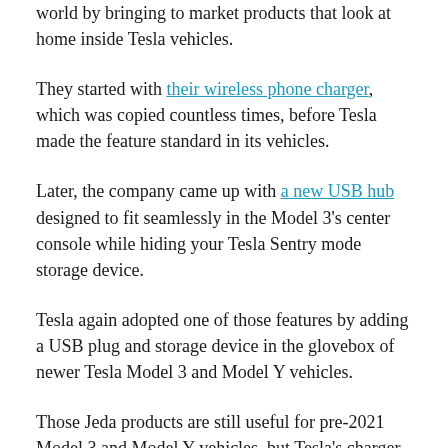world by bringing to market products that look at home inside Tesla vehicles.
They started with their wireless phone charger, which was copied countless times, before Tesla made the feature standard in its vehicles.
Later, the company came up with a new USB hub designed to fit seamlessly in the Model 3's center console while hiding your Tesla Sentry mode storage device.
Tesla again adopted one of those features by adding a USB plug and storage device in the glovebox of newer Tesla Model 3 and Model Y vehicles.
Those Jeda products are still useful for pre-2021 Model 3 and Model Y vehicles, but Tesla's charger have rendered